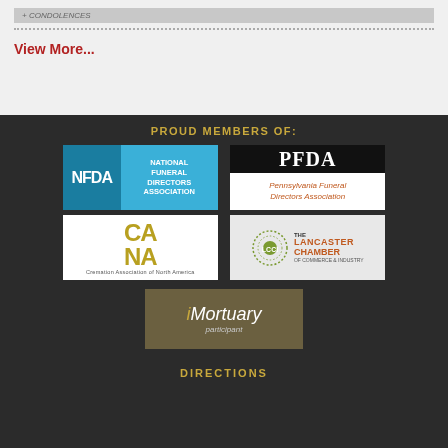CONDOLENCES
View More...
PROUD MEMBERS OF:
[Figure (logo): NFDA - National Funeral Directors Association logo, blue background]
[Figure (logo): PFDA - Pennsylvania Funeral Directors Association logo, black and white with orange text]
[Figure (logo): CANA - Cremation Association of North America logo, gold letters on white]
[Figure (logo): The Lancaster Chamber of Commerce & Industry logo]
[Figure (logo): iMortuary participant logo, olive/tan background]
DIRECTIONS